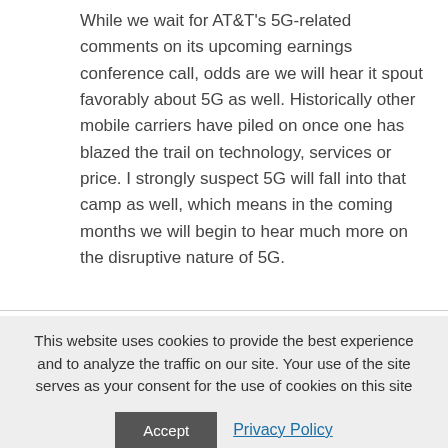While we wait for AT&T's 5G-related comments on its upcoming earnings conference call, odds are we will hear it spout favorably about 5G as well. Historically other mobile carriers have piled on once one has blazed the trail on technology, services or price. I strongly suspect 5G will fall into that camp as well, which means in the coming months we will begin to hear much more on the disruptive nature of 5G.
This website uses cookies to provide the best experience and to analyze the traffic on our site. Your use of the site serves as your consent for the use of cookies on this site